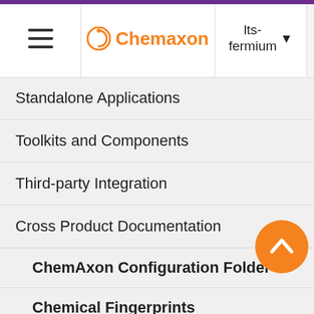Chemaxon | lts-fermium
Standalone Applications
Toolkits and Components
Third-party Integration
Cross Product Documentation
ChemAxon Configuration Folder
Chemical Fingerprints
Chemical Terms
Available Functions
Chemical Terms Getting Help an…
not contain multiple references to the same match conditions or calcul… d the